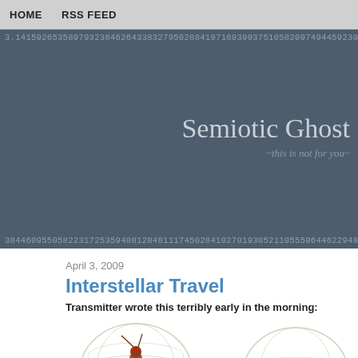HOME   RSS FEED
Semiotic Ghost
~this is not for you~
3.14159265358979323846264338327950288419716939937510582097494459230781640... 384460955058223172535940812848111745028410270193852110555964462294895493...
April 3, 2009
Interstellar Travel
Transmitter wrote this terribly early in the morning:
[Figure (photo): An ant or insect illustration in a wire/cage-like spherical structure, steampunk style]